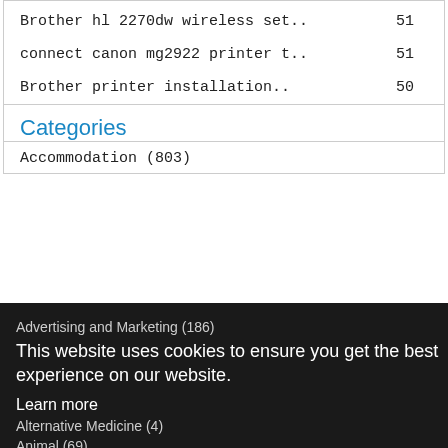Brother hl 2270dw wireless set..   51
connect canon mg2922 printer t..   51
Brother printer installation..   50
Categories
Accommodation (803)
Advertising and Marketing (186)
Alternative Medicine (4)
Animal (69)
Arts (45)
Automotive (50)
Beauty (76)
This website uses cookies to ensure you get the best experience on our website. Learn more Got it!